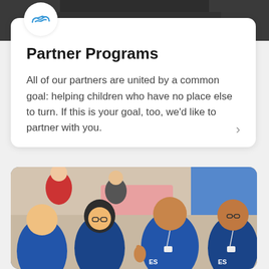[Figure (photo): Photo of a person in dark clothing, cropped at top of page]
[Figure (logo): Handshake icon in blue inside white circle]
Partner Programs
All of our partners are united by a common goal: helping children who have no place else to turn. If this is your goal, too, we’d like to partner with you.
[Figure (photo): Group photo of four young people wearing blue t-shirts with lanyards, smiling and giving thumbs up, at what appears to be a community event]